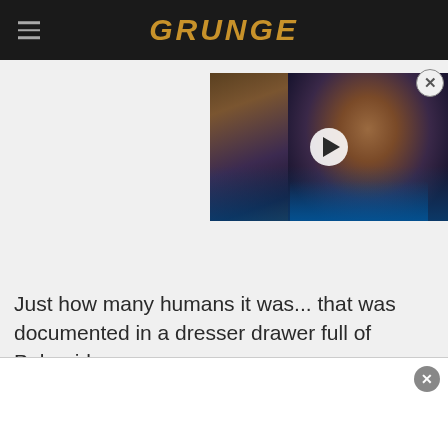GRUNGE
[Figure (photo): Video thumbnail showing an NBA basketball player in an Oklahoma City Thunder jersey with a play button overlay]
Just how many humans it was... that was documented in a dresser drawer full of Polaroids